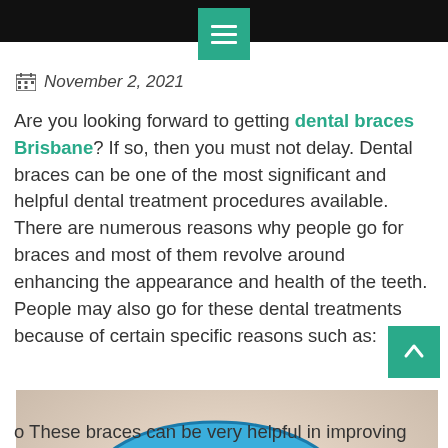November 2, 2021
Are you looking forward to getting dental braces Brisbane? If so, then you must not delay. Dental braces can be one of the most significant and helpful dental treatment procedures available. There are numerous reasons why people go for braces and most of them revolve around enhancing the appearance and health of the teeth. People may also go for these dental treatments because of certain specific reasons such as:
[Figure (photo): Hands holding a blue dental aligner case with a clear dental retainer/aligner tray being inserted or removed.]
o These braces can be very helpful in improving